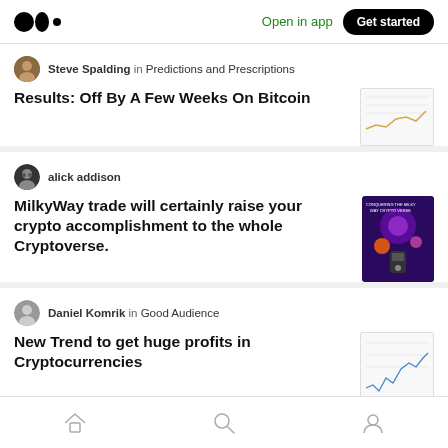Medium — Open in app  Get started
Steve Spalding in Predictions and Prescriptions
Results: Off By A Few Weeks On Bitcoin
alick addison
MilkyWay trade will certainly raise your crypto accomplishment to the whole Cryptoverse.
Daniel Komrik in Good Audience
New Trend to get huge profits in Cryptocurrencies